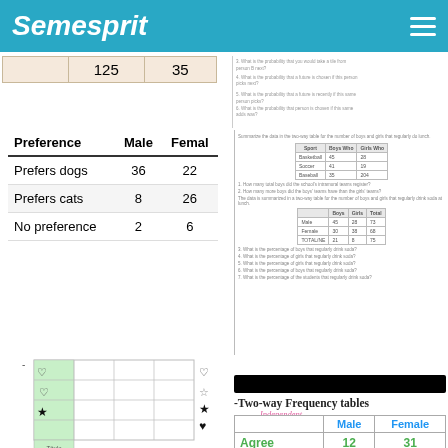Semesprit
|  | 125 | 35 |
| --- | --- | --- |
| Preference | Male | Female |
| --- | --- | --- |
| Prefers dogs | 36 | 22 |
| Prefers cats | 8 | 26 |
| No preference | 2 | 6 |
[Figure (other): Grid chart with shapes (hearts, stars) for probability activity. Labeled 'Título'. Questions area below.]
Questions: You put all these shapes into a hat and mix well. What is the probability that...?
1. You draw a black shape?
2. You draw a white shape?
#If you add the answers to 1 and 2, what do you notice?
3. You draw a star?
-Two-way Frequency tables
Independent
|  | Male | Female |
| --- | --- | --- |
| Agree | 12 | 31 |
| Disagree | 26 | 15 |
| Total | 38 | 46 |